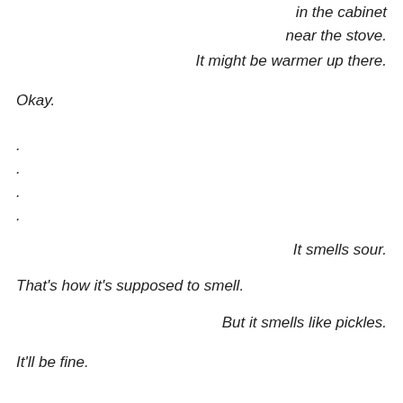in the cabinet
near the stove.
It might be warmer up there.
Okay.
.
.
.
.
It smells sour.
That's how it's supposed to smell.
But it smells like pickles.
It'll be fine.